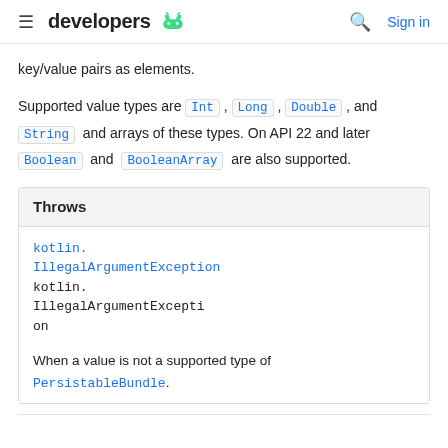developers [android logo] | [search icon] Sign in
key/value pairs as elements.
Supported value types are Int, Long, Double, and String and arrays of these types. On API 22 and later Boolean and BooleanArray are also supported.
Throws
kotlin.IllegalArgumentException
kotlin.IllegalArgumentException
When a value is not a supported type of PersistableBundle.